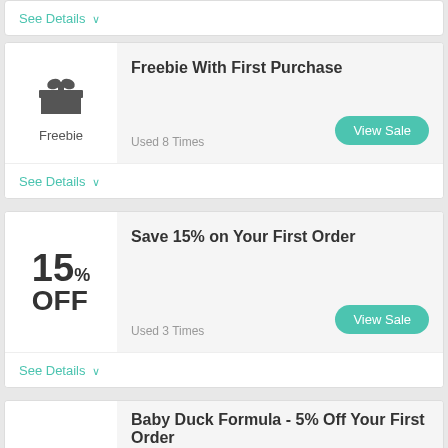See Details ∨
Freebie With First Purchase
[Figure (illustration): Gift box icon representing a freebie offer, with label 'Freebie' below]
Used 8 Times
View Sale
See Details ∨
Save 15% on Your First Order
15% OFF
Used 3 Times
View Sale
See Details ∨
Baby Duck Formula - 5% Off Your First Order